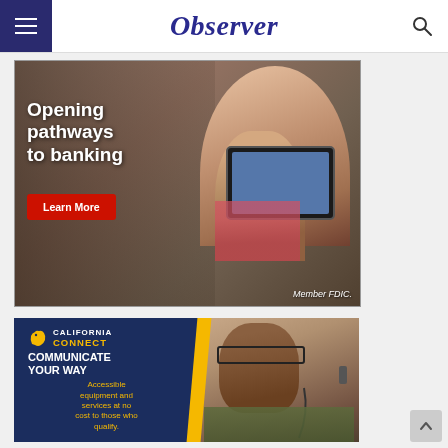Observer
[Figure (photo): Bank advertisement showing a mother and child looking at a tablet. Text reads: 'Opening pathways to banking'. Red button says 'Learn More'. Bottom right says 'Member FDIC.']
[Figure (photo): California Connect advertisement showing a man wearing glasses and a hearing aid. Text: 'California Connect - Communicate Your Way - Accessible equipment and services at no cost to those who qualify.']